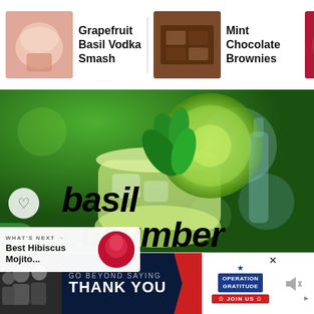Grapefruit Basil Vodka Smash | Mint Chocolate Brownies | Best Hibiscus Mojito Cocktail o...
[Figure (photo): A glass drink garnished with cucumber slices and fresh basil leaves, set against a green bokeh background. Text overlaid reads 'basil cucumber' in large italic black font.]
basil cucumber
WHAT'S NEXT → Best Hibiscus Mojito...
[Figure (photo): Advertisement banner: GO BEYOND SAYING THANK YOU — Operation Gratitude JOIN US]